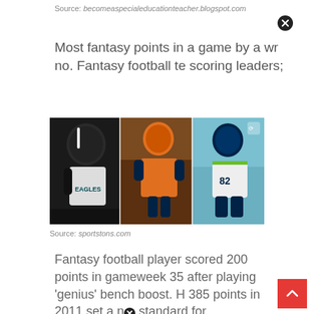Source: becomeaspecialeducationteacher.blogspot.com
Most fantasy points in a game by a wr no. Fantasy football te scoring leaders;
[Figure (photo): Three NFL football players side by side: an Eagles player viewed from behind, a Broncos player running with the ball, and a Seahawks player wearing jersey #82]
Source: sportstons.com
Fantasy football player scored 200 points in gameweek 35 after playing 'genius' bench boost. H 385 points in 2011 set a n standard for.